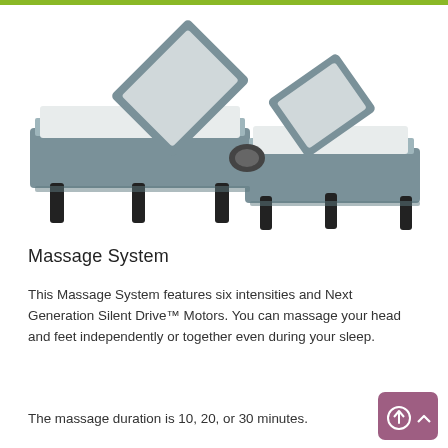[Figure (photo): An adjustable bed base with two split sides, both with the head sections raised, showing the grey upholstered frame and dark legs, photographed from a front-angle perspective on a white background.]
Massage System
This Massage System features six intensities and Next Generation Silent Drive™ Motors. You can massage your head and feet independently or together even during your sleep.
The massage duration is 10, 20, or 30 minutes.